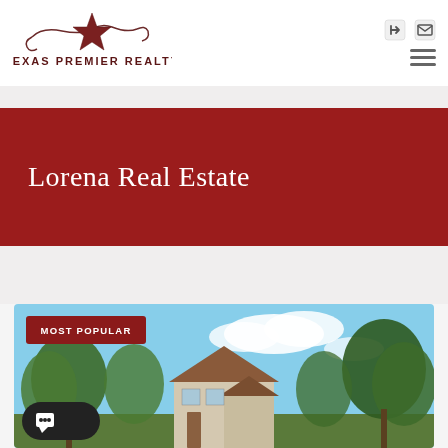Texas Premier Realty
Lorena Real Estate
[Figure (photo): Exterior photo of a residential home with blue sky and trees, showing roof and front of house]
MOST POPULAR